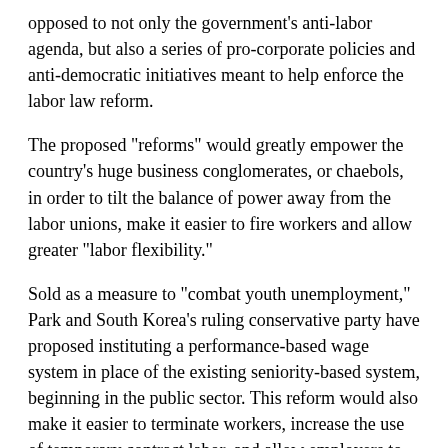opposed to not only the government's anti-labor agenda, but also a series of pro-corporate policies and anti-democratic initiatives meant to help enforce the labor law reform.
The proposed "reforms" would greatly empower the country's huge business conglomerates, or chaebols, in order to tilt the balance of power away from the labor unions, make it easier to fire workers and allow greater "labor flexibility."
Sold as a measure to "combat youth unemployment," Park and South Korea's ruling conservative party have proposed instituting a performance-based wage system in place of the existing seniority-based system, beginning in the public sector. This reform would also make it easier to terminate workers, increase the use of temporary contract labor, and allow employers to make unilateral changes in employment rules without consultation with the unions.